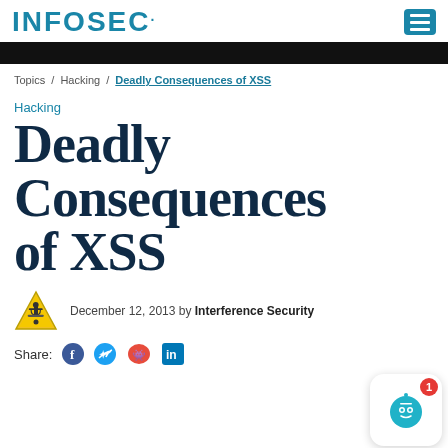INFOSEC
Topics / Hacking / Deadly Consequences of XSS
Hacking
Deadly Consequences of XSS
December 12, 2013 by Interference Security
Share: